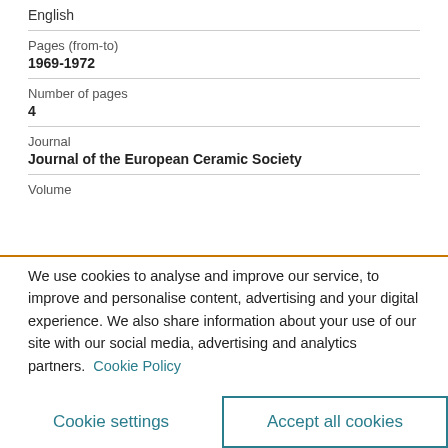English
| Pages (from-to) | 1969-1972 |
| Number of pages | 4 |
| Journal | Journal of the European Ceramic Society |
| Volume |  |
We use cookies to analyse and improve our service, to improve and personalise content, advertising and your digital experience. We also share information about your use of our site with our social media, advertising and analytics partners. Cookie Policy
Cookie settings
Accept all cookies